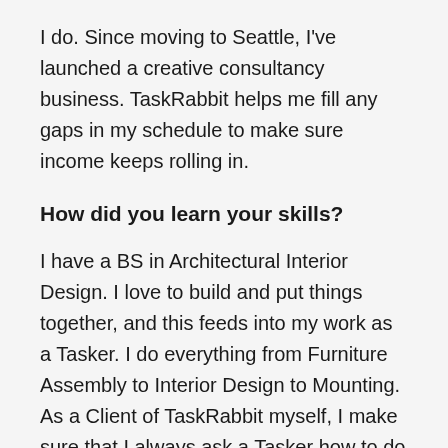I do. Since moving to Seattle, I've launched a creative consultancy business. TaskRabbit helps me fill any gaps in my schedule to make sure income keeps rolling in.
How did you learn your skills?
I have a BS in Architectural Interior Design. I love to build and put things together, and this feeds into my work as a Tasker. I do everything from Furniture Assembly to Interior Design to Mounting. As a Client of TaskRabbit myself, I make sure that I always ask a Tasker how to do something I don't know how to do so that I can